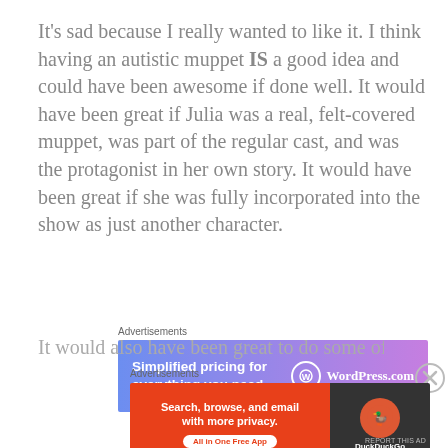It's sad because I really wanted to like it. I think having an autistic muppet IS a good idea and could have been awesome if done well. It would have been great if Julia was a real, felt-covered muppet, was part of the regular cast, and was the protagonist in her own story. It would have been great if she was fully incorporated into the show as just another character.
Advertisements
[Figure (other): WordPress.com advertisement banner: 'Simplified pricing for everything you need.' with WordPress logo on purple-blue gradient background]
It would also have been great to do some of the live
Advertisements
[Figure (other): DuckDuckGo advertisement banner: 'Search, browse, and email with more privacy. All in One Free App' with DuckDuckGo logo on dark background]